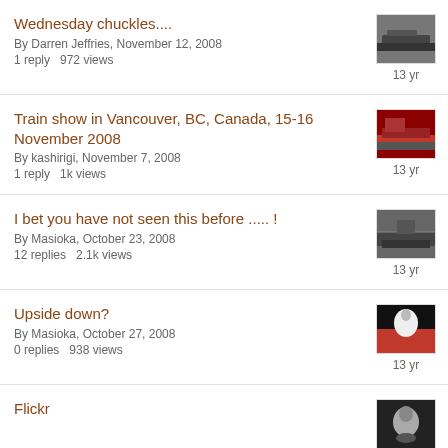Wednesday chuckles....
By Darren Jeffries, November 12, 2008
1 reply   972 views
13 yr
Train show in Vancouver, BC, Canada, 15-16 November 2008
By kashirigi, November 7, 2008
1 reply   1k views
13 yr
I bet you have not seen this before ..... !
By Masioka, October 23, 2008
12 replies   2.1k views
13 yr
Upside down?
By Masioka, October 27, 2008
0 replies   938 views
13 yr
Flickr
13 yr